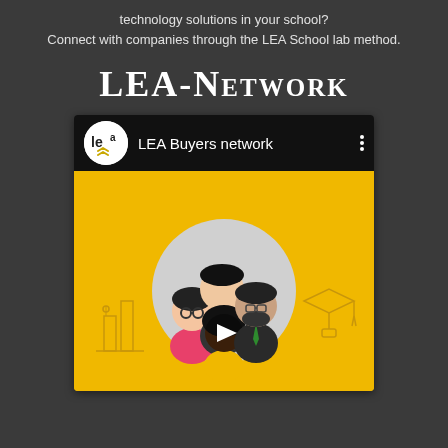technology solutions in your school?
Connect with companies through the LEA School lab method.
LEA-Network
[Figure (screenshot): A YouTube-style video thumbnail showing a LEA Buyers network channel. The header has a white circular LEA logo on black background with 'LEA Buyers network' text and a three-dot menu. The thumbnail shows a yellow background with an illustrated group of four diverse animated people in a circle, with a play button overlay.]